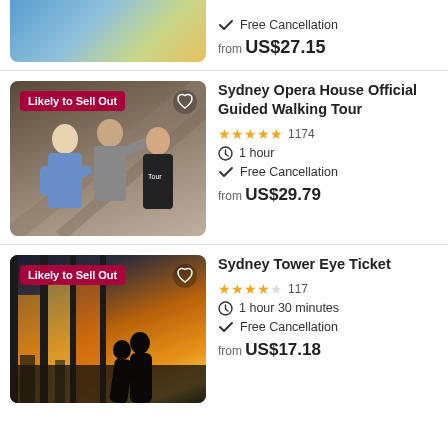[Figure (photo): Partial top of a tour listing showing a colorful bird/food image, partially cut off at top]
Free Cancellation
from US$27.15
[Figure (photo): Sydney Opera House guided walking tour photo showing three people pointing and looking up at the Opera House architecture, with Likely to Sell Out badge]
Sydney Opera House Official Guided Walking Tour
4.5 stars, 1174 reviews, 1 hour, Free Cancellation, from US$29.79
[Figure (photo): Sydney Tower Eye photo showing a couple silhouetted against a sunset city view from glass observation deck, with Likely to Sell Out badge]
Sydney Tower Eye Ticket
3.5 stars, 117 reviews, 1 hour 30 minutes, Free Cancellation, from US$17.18